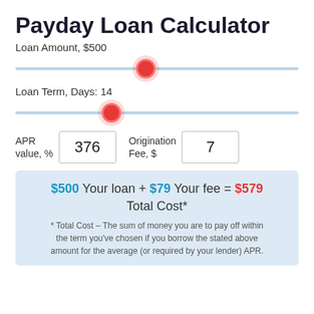Payday Loan Calculator
Loan Amount, $500
[Figure (other): Horizontal slider for Loan Amount with red thumb positioned at approximately 46% (representing $500)]
Loan Term, Days: 14
[Figure (other): Horizontal slider for Loan Term with red thumb positioned at approximately 34% (representing 14 days)]
APR value, % 376
Origination Fee, $ 7
$500 Your loan + $79 Your fee = $579 Total Cost*
* Total Cost – The sum of money you are to pay off within the term you've chosen if you borrow the stated above amount for the average (or required by your lender) APR.